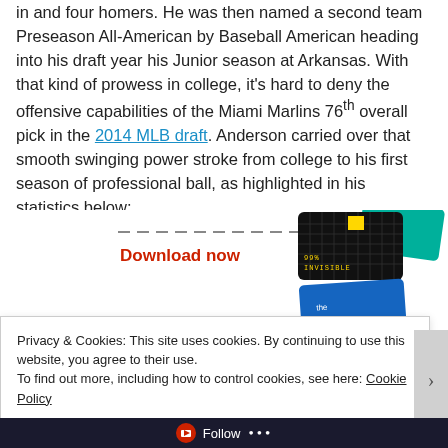in and four homers. He was then named a second team Preseason All-American by Baseball American heading into his draft year his Junior season at Arkansas. With that kind of prowess in college, it's hard to deny the offensive capabilities of the Miami Marlins 76th overall pick in the 2014 MLB draft. Anderson carried over that smooth swinging power stroke from college to his first season of professional ball, as highlighted in his statistics below:
[Figure (other): Advertisement banner showing podcast app cards including '99% Invisible' with a Download now call-to-action in red text and dashed lines above]
Privacy & Cookies: This site uses cookies. By continuing to use this website, you agree to their use.
To find out more, including how to control cookies, see here: Cookie Policy
Close and accept
Follow ...